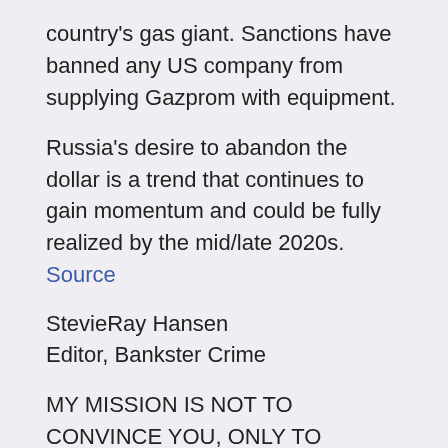country's gas giant. Sanctions have banned any US company from supplying Gazprom with equipment.
Russia's desire to abandon the dollar is a trend that continues to gain momentum and could be fully realized by the mid/late 2020s. Source
StevieRay Hansen
Editor, Bankster Crime
MY MISSION IS NOT TO CONVINCE YOU, ONLY TO INFORM YOU...
The Birth Pains Are Growing Stronger….
“Unless God has raised you up for this very